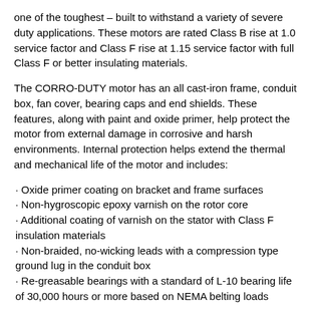one of the toughest – built to withstand a variety of severe duty applications. These motors are rated Class B rise at 1.0 service factor and Class F rise at 1.15 service factor with full Class F or better insulating materials.
The CORRO-DUTY motor has an all cast-iron frame, conduit box, fan cover, bearing caps and end shields. These features, along with paint and oxide primer, help protect the motor from external damage in corrosive and harsh environments. Internal protection helps extend the thermal and mechanical life of the motor and includes:
Oxide primer coating on bracket and frame surfaces
Non-hygroscopic epoxy varnish on the rotor core
Additional coating of varnish on the stator with Class F insulation materials
Non-braided, no-wicking leads with a compression type ground lug in the conduit box
Re-greasable bearings with a standard of L-10 bearing life of 30,000 hours or more based on NEMA belting loads